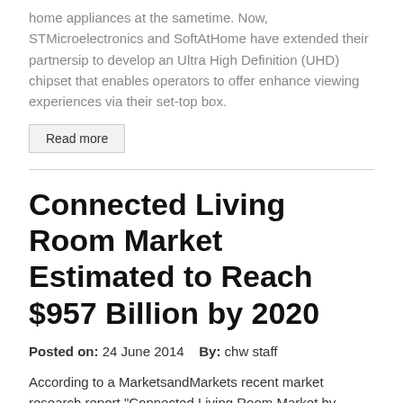home appliances at the sametime. Now, STMicroelectronics and SoftAtHome have extended their partnersip to develop an Ultra High Definition (UHD) chipset that enables operators to offer enhance viewing experiences via their set-top box.
Read more
Connected Living Room Market Estimated to Reach $957 Billion by 2020
Posted on: 24 June 2014   By: chw staff
According to a MarketsandMarkets recent market research report "Connected Living Room Market by Products (Smart/3D, LED/LCD/OLED TV, set top box, Home theater (Projector, Audio Equipment), Blu-ray player, Gaming console), Technology (Power Management...